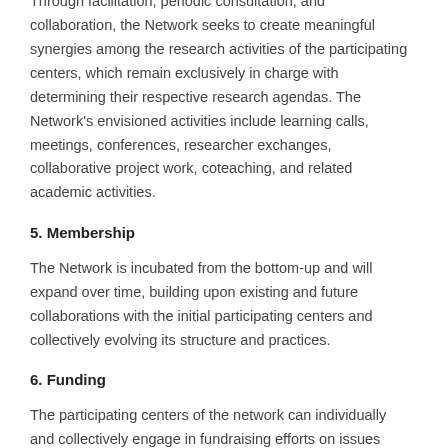Through facilitation, periodic consultation, and collaboration, the Network seeks to create meaningful synergies among the research activities of the participating centers, which remain exclusively in charge with determining their respective research agendas. The Network's envisioned activities include learning calls, meetings, conferences, researcher exchanges, collaborative project work, coteaching, and related academic activities.
5. Membership
The Network is incubated from the bottom-up and will expand over time, building upon existing and future collaborations with the initial participating centers and collectively evolving its structure and practices.
6. Funding
The participating centers of the network can individually and collectively engage in fundraising efforts on issues relevant to the Network. The activities are governed by the respective rules applicable to each participating center (e.g. University's fundraising and conflict of